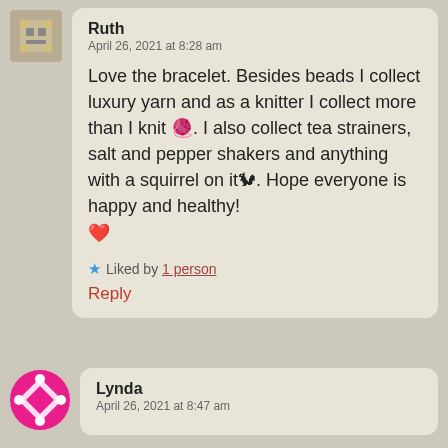Ruth
April 26, 2021 at 8:28 am
Love the bracelet. Besides beads I collect luxury yarn and as a knitter I collect more than I knit 🧶. I also collect tea strainers, salt and pepper shakers and anything with a squirrel on it🐿. Hope everyone is happy and healthy! ❤️
Liked by 1 person
Reply
Lynda
April 26, 2021 at 8:47 am